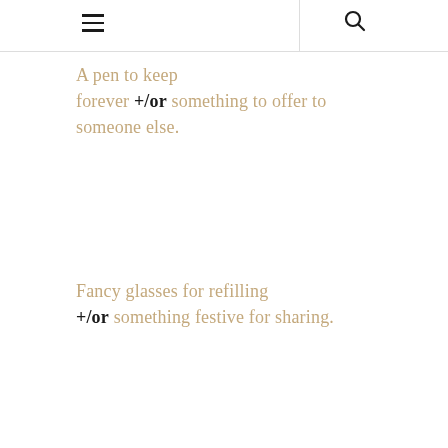A pen to keep forever +/or something to offer to someone else.
Fancy glasses for refilling +/or something festive for sharing.